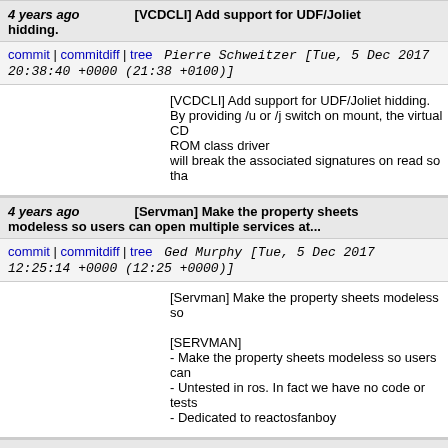4 years ago [VCDCLI] Add support for UDF/Joliet hidding.
commit | commitdiff | tree   Pierre Schweitzer [Tue, 5 Dec 2017 20:38:40 +0000 (21:38 +0100)]
[VCDCLI] Add support for UDF/Joliet hidding. By providing /u or /j switch on mount, the virtual CD ROM class driver will break the associated signatures on read so tha
4 years ago [Servman] Make the property sheets modeless so users can open multiple services at...
commit | commitdiff | tree   Ged Murphy [Tue, 5 Dec 2017 12:25:14 +0000 (12:25 +0000)]
[Servman] Make the property sheets modeless so
[SERVMAN]
- Make the property sheets modeless so users can
- Untested in ros. In fact we have no code or tests
- Dedicated to reactosfanboy
4 years ago [SHELL32_APITEST] SHParseDisplayName: More tests for relative paths
commit | commitdiff | tree   Stanislav Motylkov [Sun, 3 Dec 2017 15:45:24 +0000 (18:45 +0300)]